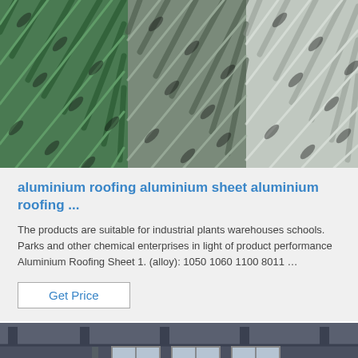[Figure (photo): Close-up of aluminium checker/diamond plate sheets in green, silver, and other colors arranged side by side.]
aluminium roofing aluminium sheet aluminium roofing ...
The products are suitable for industrial plants warehouses schools. Parks and other chemical enterprises in light of product performance Aluminium Roofing Sheet 1. (alloy): 1050 1060 1100 8011 …
Get Price
[Figure (photo): Interior of a factory/warehouse showing rolls of aluminium sheet on the floor, with large windows in the background and a TOP watermark logo in the lower right.]